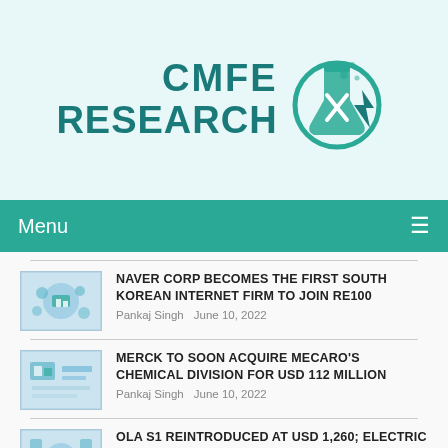[Figure (logo): CMFE Research logo with teal flask/food icon and lightning bolt]
Menu ≡
NAVER CORP BECOMES THE FIRST SOUTH KOREAN INTERNET FIRM TO JOIN RE100
Pankaj Singh   June 10, 2022
MERCK TO SOON ACQUIRE MECARO'S CHEMICAL DIVISION FOR USD 112 MILLION
Pankaj Singh   June 10, 2022
OLA S1 REINTRODUCED AT USD 1,260; ELECTRIC CARS TEASED FOR 2024 LAUNCH